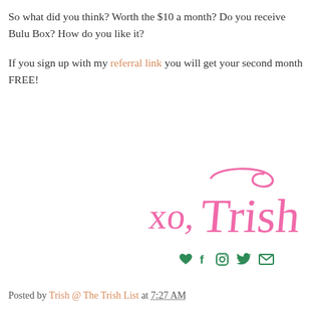So what did you think? Worth the $10 a month? Do you receive Bulu Box? How do you like it?
If you sign up with my referral link you will get your second month FREE!
[Figure (illustration): Handwritten pink cursive signature reading 'xo, Trish' with social media icons below (heart, Facebook, Instagram, Twitter, email)]
Posted by Trish @ The Trish List at 7:27 AM